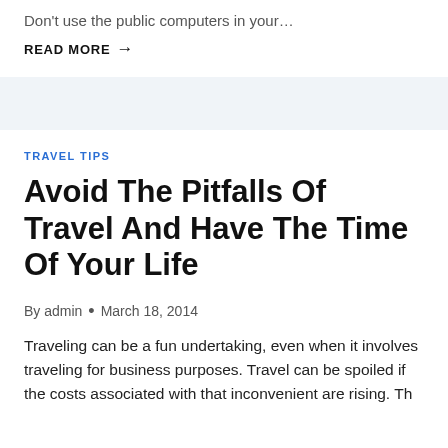Don't use the public computers in your…
READ MORE →
TRAVEL TIPS
Avoid The Pitfalls Of Travel And Have The Time Of Your Life
By admin • March 18, 2014
Traveling can be a fun undertaking, even when it involves traveling for business purposes. Travel can be spoiled if the costs associated with that inconvenient are rising. Th